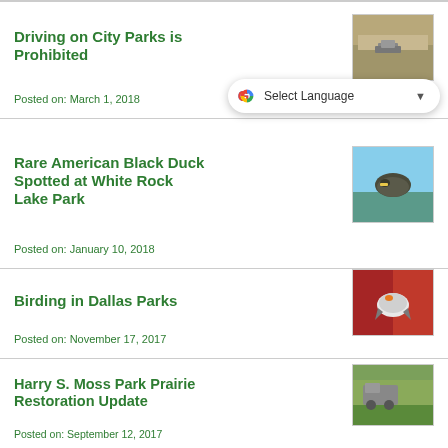Driving on City Parks is Prohibited
Posted on: March 1, 2018
[Figure (photo): Aerial view of a vehicle on a dry park field]
Rare American Black Duck Spotted at White Rock Lake Park
Posted on: January 10, 2018
[Figure (photo): Photo of a rare American Black Duck at White Rock Lake Park]
Birding in Dallas Parks
Posted on: November 17, 2017
[Figure (photo): A bird in flight among red foliage in a Dallas park]
Harry S. Moss Park Prairie Restoration Update
Posted on: September 12, 2017
[Figure (photo): Equipment working in a prairie restoration area at Harry S. Moss Park]
Algae in Dallas Park and Recreation Lake
[Figure (photo): Green algae in a Dallas park and recreation lake]